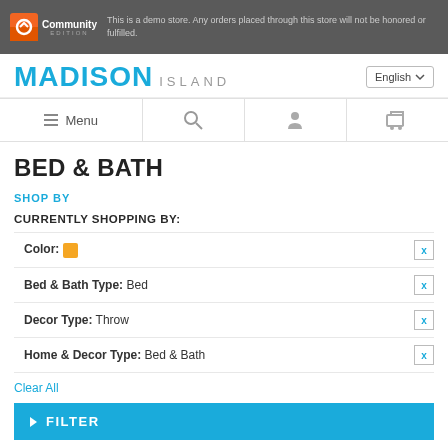This is a demo store. Any orders placed through this store will not be honored or fulfilled.
MADISON ISLAND
English
Menu
BED & BATH
SHOP BY
CURRENTLY SHOPPING BY:
Color: [orange swatch] x
Bed & Bath Type: Bed x
Decor Type: Throw x
Home & Decor Type: Bed & Bath x
Clear All
FILTER